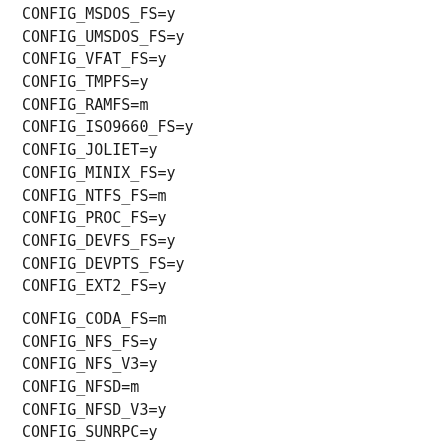CONFIG_MSDOS_FS=y
CONFIG_UMSDOS_FS=y
CONFIG_VFAT_FS=y
CONFIG_TMPFS=y
CONFIG_RAMFS=m
CONFIG_ISO9660_FS=y
CONFIG_JOLIET=y
CONFIG_MINIX_FS=y
CONFIG_NTFS_FS=m
CONFIG_PROC_FS=y
CONFIG_DEVFS_FS=y
CONFIG_DEVPTS_FS=y
CONFIG_EXT2_FS=y
CONFIG_CODA_FS=m
CONFIG_NFS_FS=y
CONFIG_NFS_V3=y
CONFIG_NFSD=m
CONFIG_NFSD_V3=y
CONFIG_SUNRPC=y
CONFIG_LOCKD=y
CONFIG_LOCKD_V4=y
CONFIG_SMB_FS=m
CONFIG_NCP_FS=m
CONFIG_NCPFS_STRONG=y